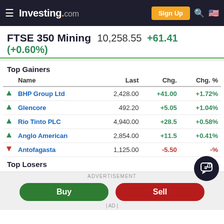Investing.com | Sign Up
FTSE 350 Mining 10,258.55 +61.41 (+0.60%)
Top Gainers
| Name | Last | Chg. | Chg. % |
| --- | --- | --- | --- |
| BHP Group Ltd | 2,428.00 | +41.00 | +1.72% |
| Glencore | 492.20 | +5.05 | +1.04% |
| Rio Tinto PLC | 4,940.00 | +28.5 | +0.58% |
| Anglo American | 2,854.00 | +11.5 | +0.41% |
| Antofagasta | 1,125.00 | -5.50 | -% |
Top Losers
ADVERTISEMENT
Buy | Sell
| AD |